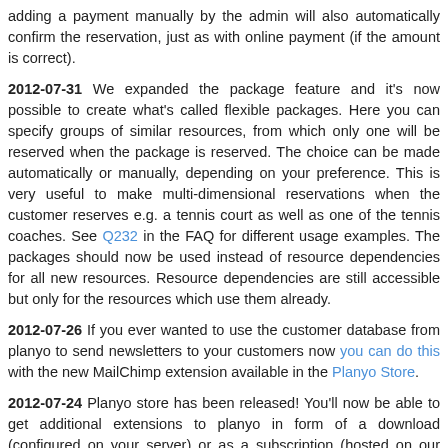adding a payment manually by the admin will also automatically confirm the reservation, just as with online payment (if the amount is correct).
2012-07-31 We expanded the package feature and it's now possible to create what's called flexible packages. Here you can specify groups of similar resources, from which only one will be reserved when the package is reserved. The choice can be made automatically or manually, depending on your preference. This is very useful to make multi-dimensional reservations when the customer reserves e.g. a tennis court as well as one of the tennis coaches. See Q232 in the FAQ for different usage examples. The packages should now be used instead of resource dependencies for all new resources. Resource dependencies are still accessible but only for the resources which use them already.
2012-07-26 If you ever wanted to use the customer database from planyo to send newsletters to your customers now you can do this with the new MailChimp extension available in the Planyo Store.
2012-07-24 Planyo store has been released! You'll now be able to get additional extensions to planyo in form of a download (configured on your server) or as a subscription (hosted on our servers). The initial release of the Planyo store includes only 3